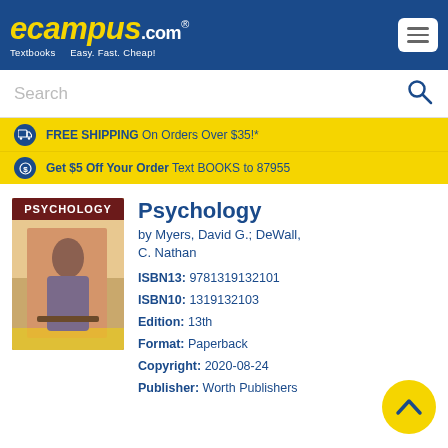eCampus.com — Textbooks | Easy. Fast. Cheap!
Search
FREE SHIPPING On Orders Over $35!*
Get $5 Off Your Order Text BOOKS to 87955
Psychology
by Myers, David G.; DeWall, C. Nathan
ISBN13: 9781319132101
ISBN10: 1319132103
Edition: 13th
Format: Paperback
Copyright: 2020-08-24
Publisher: Worth Publishers